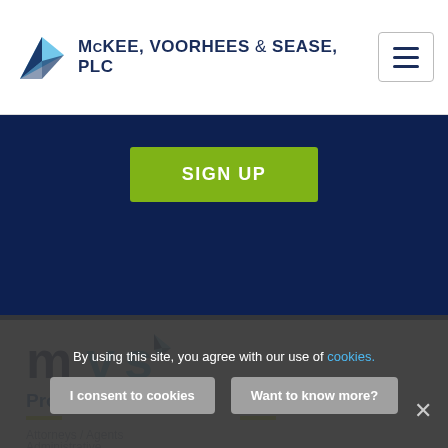McKEE, VOORHEES & SEASE, PLC
[Figure (logo): MVS paper-airplane logo (blue triangular shape)]
[Figure (logo): Hamburger menu icon in a bordered box]
[Figure (infographic): Dark navy blue banner with a green SIGN UP button]
[Figure (logo): MVS logo - lowercase mvs text with blue arrow graphic]
Professionals
Services
Attorneys / Agents
Administrative
By using this site, you agree with our use of cookies.
I consent to cookies
Want to know more?